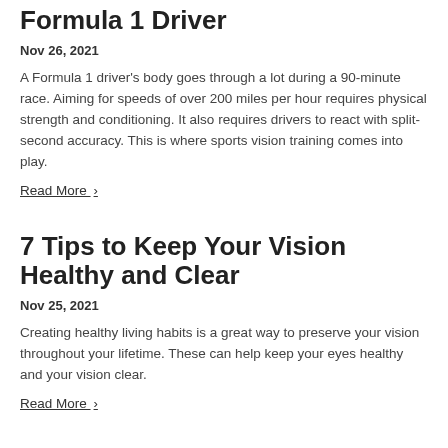Formula 1 Driver
Nov 26, 2021
A Formula 1 driver's body goes through a lot during a 90-minute race. Aiming for speeds of over 200 miles per hour requires physical strength and conditioning. It also requires drivers to react with split-second accuracy. This is where sports vision training comes into play.
Read More ›
7 Tips to Keep Your Vision Healthy and Clear
Nov 25, 2021
Creating healthy living habits is a great way to preserve your vision throughout your lifetime. These can help keep your eyes healthy and your vision clear.
Read More ›